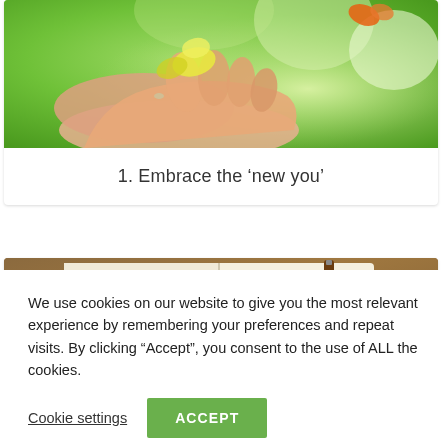[Figure (photo): A hand gently holding up a yellow and white butterfly against a green bokeh background, with another butterfly visible in the upper right.]
1. Embrace the ‘new you’
[Figure (photo): An open notebook on a wooden table with the words 'knowledge EMPOWERS you' written in calligraphic script, with a pen visible. A hand is writing in the notebook.]
We use cookies on our website to give you the most relevant experience by remembering your preferences and repeat visits. By clicking “Accept”, you consent to the use of ALL the cookies.
Cookie settings
ACCEPT